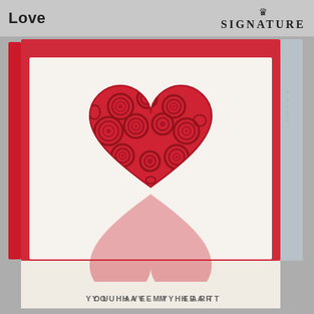Love
SIGNATURE
[Figure (photo): Hallmark Signature greeting card with quilled paper heart design — red heart shape filled with swirling paper coil roses and spirals on a white card background, packaged in plastic with a red envelope]
YOU HAVE MY HEART